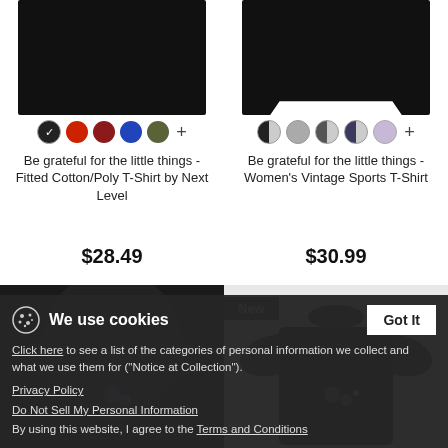[Figure (photo): Black fitted t-shirt product photo (top cropped)]
[Figure (photo): Black women's vintage sports t-shirt product photo (top cropped)]
Be grateful for the little things - Fitted Cotton/Poly T-Shirt by Next Level
$28.49
Be grateful for the little things - Women's Vintage Sports T-Shirt
$30.99
[Figure (photo): Black short-sleeve t-shirt with small graphic, bottom row left]
[Figure (photo): Black and white raglan baseball t-shirt with graphic, bottom row right, labeled New]
We use cookies
Click here to see a list of the categories of personal information we collect and what we use them for ("Notice at Collection").
Privacy Policy
Do Not Sell My Personal Information
By using this website, I agree to the Terms and Conditions